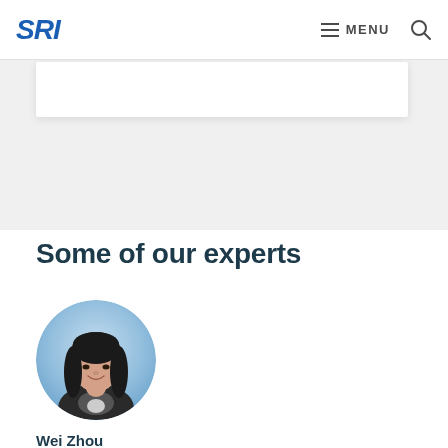SRI  MENU
Some of our experts
[Figure (photo): Circular profile photo of Wei Zhou, a woman with long dark hair, smiling, against a light blue gradient background]
Wei Zhou